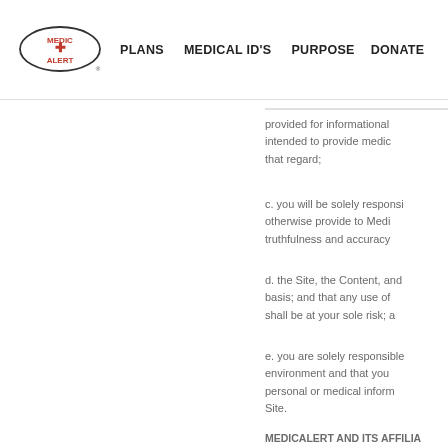PLANS   MEDICAL ID'S   PURPOSE   DONATE
provided for informational... intended to provide medic... that regard;
c. you will be solely responsi... otherwise provide to Medi... truthfulness and accuracy
d. the Site, the Content, and... basis; and that any use of... shall be at your sole risk; a
e. you are solely responsible... environment and that you... personal or medical inform... Site.
MEDICALERT AND ITS AFFILIA... DISCLAIM ALL, REPRESENTAT... CONDITIONS, EXPRESS OR IM